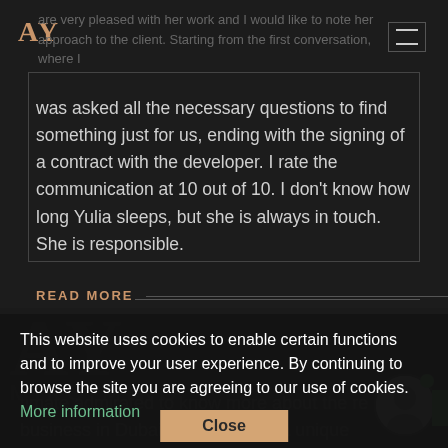[Figure (logo): AY logo in rose gold/copper color, top left corner]
are very pleased with her work and I would like to note her approach to the client. Starting from the first conversation, where I
was asked all the necessary questions to find something just for us, ending with the signing of a contract with the developer. I rate the communication at 10 out of 10. I don't know how long Yulia sleeps, but she is always in touch. She is responsible.
READ MORE
This website uses cookies to enable certain functions and to improve your user experience. By continuing to browse the site you are agreeing to our use of cookies. More information
Close
timate admirat ed to know more about the re business in Dubai. God sent me a unique intelligent